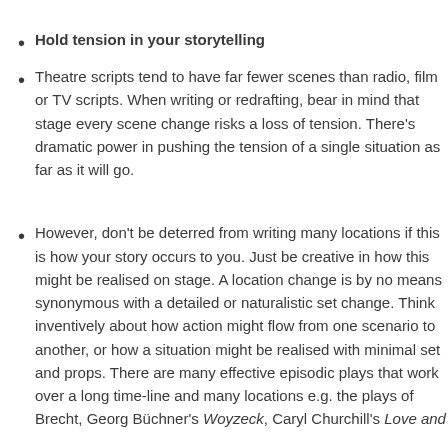Hold tension in your storytelling
Theatre scripts tend to have far fewer scenes than radio, film or TV scripts. When writing or redrafting, bear in mind that stage every scene change risks a loss of tension. There's dramatic power in pushing the tension of a single situation as far as it will go.
However, don't be deterred from writing many locations if this is how your story occurs to you. Just be creative in how this might be realised on stage. A location change is by no means synonymous with a detailed or naturalistic set change. Think inventively about how action might flow from one scenario to another, or how a situation might be realised with minimal set and props. There are many effective episodic plays that work over a long time-line and many locations e.g. the plays of Brecht, Georg Büchner's Woyzeck, Caryl Churchill's Love and